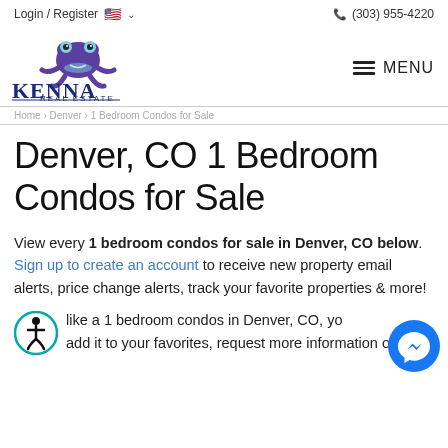Login / Register  🇺🇸 ∨    📞 (303) 955-4220
[Figure (logo): Kenna Real Estate logo with purple frog mascot]
MENU
Home › Denver › 1 Bedroom Condos for Sale
Denver, CO 1 Bedroom Condos for Sale
View every 1 bedroom condos for sale in Denver, CO below. Sign up to create an account to receive new property email alerts, price change alerts, track your favorite properties & more!
like a 1 bedroom condos in Denver, CO, you can add it to your favorites, request more information or